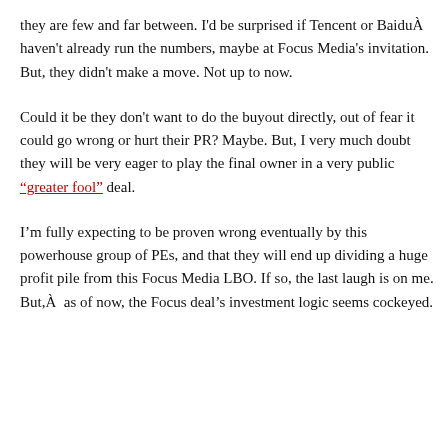they are few and far between. I'd be surprised if Tencent or Baidu haven't already run the numbers, maybe at Focus Media's invitation. But, they didn't make a move. Not up to now.
Could it be they don't want to do the buyout directly, out of fear it could go wrong or hurt their PR? Maybe. But, I very much doubt they will be very eager to play the final owner in a very public “greater fool” deal.
I’m fully expecting to be proven wrong eventually by this powerhouse group of PEs, and that they will end up dividing a huge profit pile from this Focus Media LBO. If so, the last laugh is on me. But,  as of now, the Focus deal’s investment logic seems cockeyed.